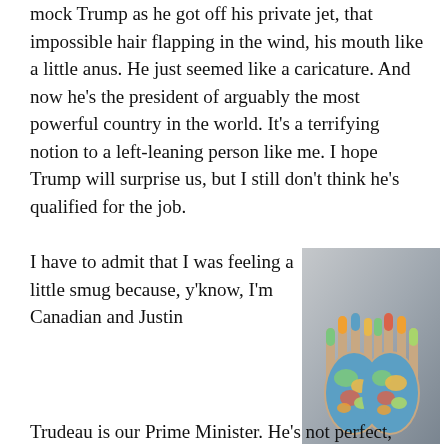mock Trump as he got off his private jet, that impossible hair flapping in the wind, his mouth like a little anus. He just seemed like a caricature. And now he's the president of arguably the most powerful country in the world. It's a terrifying notion to a left-leaning person like me. I hope Trump will surprise us, but I still don't think he's qualified for the job.
I have to admit that I was feeling a little smug because, y'know, I'm Canadian and Justin
[Figure (photo): Two open hands painted with a colorful world map, showing continents in blue, green, yellow, orange, and pink against a light grey background.]
Trudeau is our Prime Minister. He's not perfect, certainly,